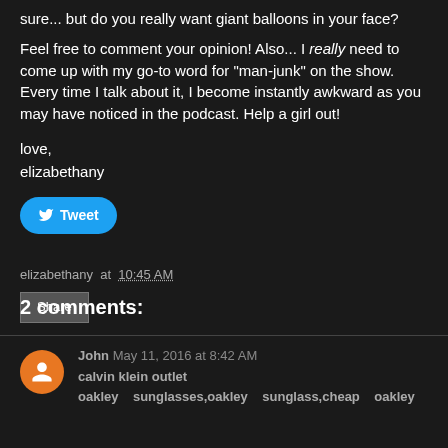sure... but do you really want giant balloons in your face?
Feel free to comment your opinion! Also... I really need to come up with my go-to word for "man-junk" on the show. Every time I talk about it, I become instantly awkward as you may have noticed in the podcast. Help a girl out!
love,
elizabethany
[Figure (other): Blue Twitter Tweet button with bird icon]
elizabethany at 10:45 AM
[Figure (other): Gray Share button]
2 comments:
John May 11, 2016 at 8:42 AM
calvin klein outlet
oakley sunglasses,oakley sunglass,cheap oakley